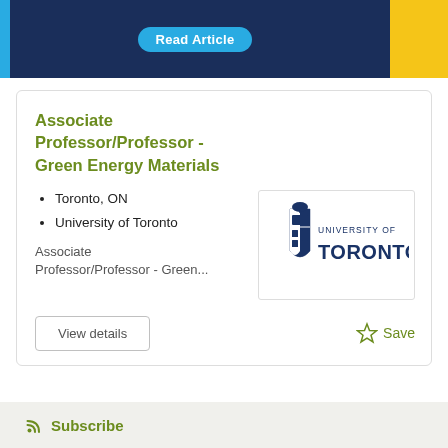[Figure (screenshot): Dark navy blue banner with a 'Read Article' teal button centered, blue left border, yellow accent on right]
Associate Professor/Professor - Green Energy Materials
Toronto, ON
University of Toronto
[Figure (logo): University of Toronto logo with crest and text UNIVERSITY OF TORONTO in dark blue]
Associate Professor/Professor - Green...
View details
Save
Subscribe